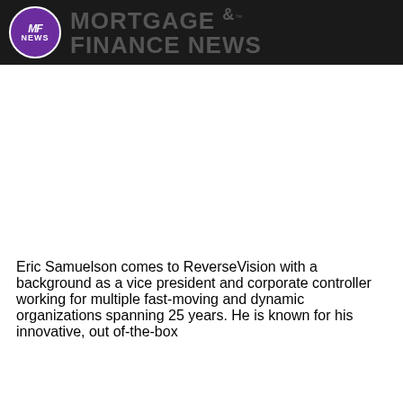MF NEWS MORTGAGE & FINANCE NEWS
Eric Samuelson comes to ReverseVision with a background as a vice president and corporate controller working for multiple fast-moving and dynamic organizations spanning 25 years. He is known for his innovative, out of-the-box